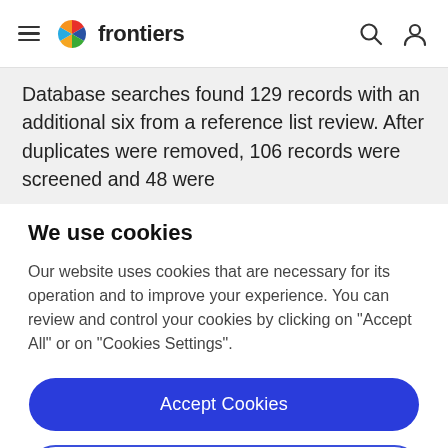frontiers
Database searches found 129 records with an additional six from a reference list review. After duplicates were removed, 106 records were screened and 48 were
We use cookies
Our website uses cookies that are necessary for its operation and to improve your experience. You can review and control your cookies by clicking on "Accept All" or on "Cookies Settings".
Accept Cookies
Cookies Settings